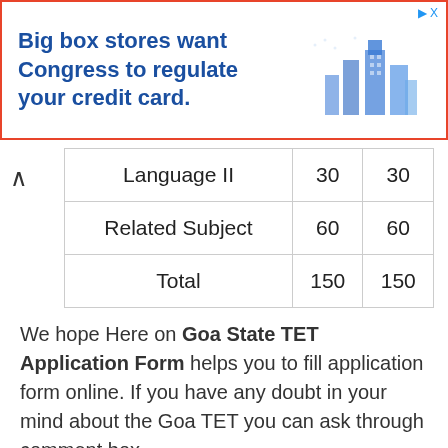[Figure (other): Advertisement banner: 'Big box stores want Congress to regulate your credit card.' with a blue building illustration on the right and a red/orange border.]
| Language II | 30 | 30 |
| Related Subject | 60 | 60 |
| Total | 150 | 150 |
We hope Here on Goa State TET Application Form helps you to fill application form online. If you have any doubt in your mind about the Goa TET you can ask through comment box.